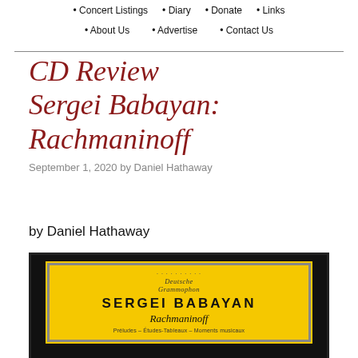• Concert Listings  • Diary  • Donate  • Links  • About Us  • Advertise  • Contact Us
CD Review Sergei Babayan: Rachmaninoff
September 1, 2020 by Daniel Hathaway
by Daniel Hathaway
[Figure (photo): Album cover for Sergei Babayan Rachmaninoff on Deutsche Grammophon. Yellow label with text: SERGEI BABAYAN, Rachmaninoff, Préludes – Études-Tableaux – Moments musicaux. Below the label, a partial photo of the pianist.]